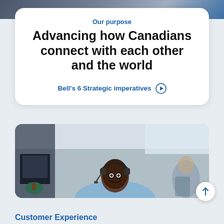[Figure (photo): Background photo at top of page showing an office environment, partially visible behind the white card.]
Our purpose
Advancing how Canadians connect with each other and the world
Bell's 6 Strategic imperatives ▶
[Figure (photo): Photo of a smiling Black man wearing headphones/headset and glasses, sitting at a workstation in a call center or office environment. Other colleagues are blurred in the background.]
Customer Experience